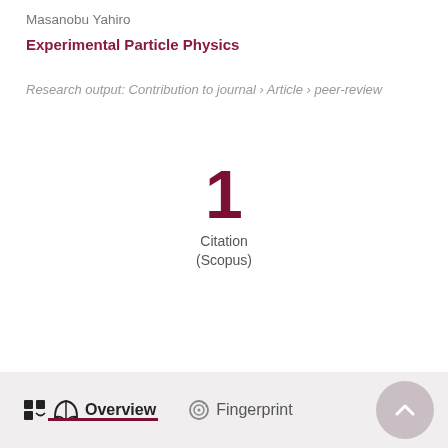Masanobu Yahiro
Experimental Particle Physics
Research output: Contribution to journal › Article › peer-review
1
Citation
(Scopus)
Overview   Fingerprint